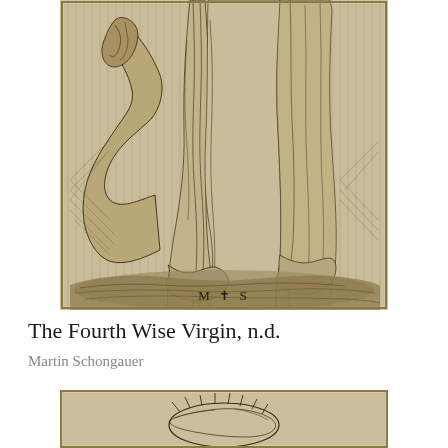[Figure (illustration): A detailed engraving showing the lower body and draped robes of a wise virgin figure. The robes have elaborate folds and drapery. At the bottom center of the image is a monogram 'M + S' (Martin Schongauer's mark). The figure stands on ground rendered with crosshatching.]
The Fourth Wise Virgin, n.d.
Martin Schongauer
[Figure (illustration): A partial view of another engraving at the bottom of the page, showing what appears to be a crown of thorns or wreath motif, partially cropped.]